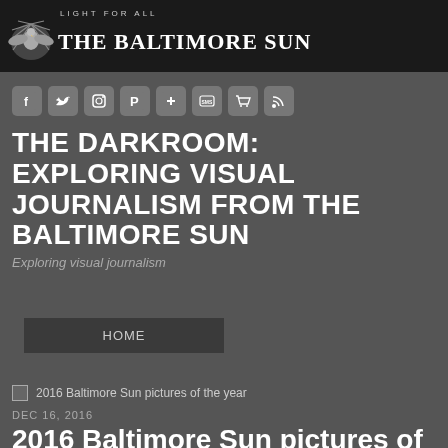LIGHT FOR ALL | THE BALTIMORE SUN
[Figure (logo): The Baltimore Sun newspaper logo with eagle emblem, 'LIGHT FOR ALL' tagline above]
[Figure (other): Social media icons row: Facebook, Twitter, Instagram, Pinterest, Google+, SMS, Shopping cart, RSS]
THE DARKROOM: EXPLORING VISUAL JOURNALISM FROM THE BALTIMORE SUN
Exploring visual journalism
HOME
[Figure (photo): 2016 Baltimore Sun pictures of the year - broken/placeholder image thumbnail]
DEC 16, 2016
2016 Baltimore Sun pictures of the year